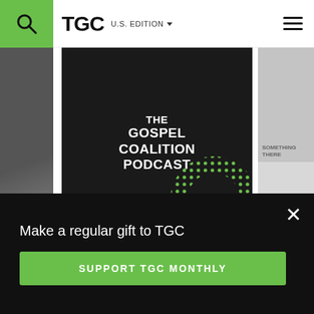TGC | U.S. EDITION
[Figure (screenshot): The Gospel Coalition Podcast artwork — dark background with bold white uppercase text reading THE GOSPEL COALITION PODCAST, with green dotted circle graphic in lower right]
How to Delight in the Law of the Lord
JEN WILKIN
Make a regular gift to TGC
SUPPORT TGC MONTHLY